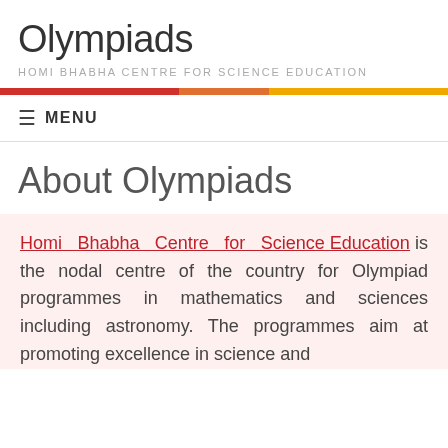Olympiads
HOMI BHABHA CENTRE FOR SCIENCE EDUCATION
MENU
About Olympiads
Homi Bhabha Centre for Science Education is the nodal centre of the country for Olympiad programmes in mathematics and sciences including astronomy. The programmes aim at promoting excellence in science and